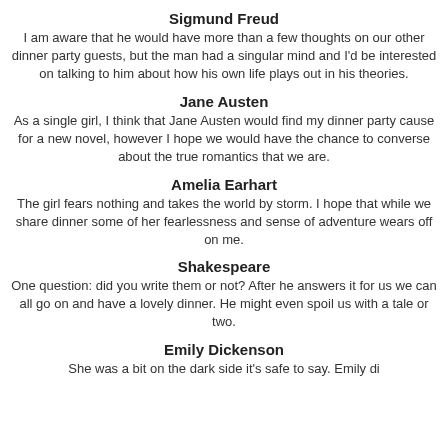Sigmund Freud
I am aware that he would have more than a few thoughts on our other dinner party guests, but the man had a singular mind and I'd be interested on talking to him about how his own life plays out in his theories.
Jane Austen
As a single girl, I think that Jane Austen would find my dinner party cause for a new novel, however I hope we would have the chance to converse about the true romantics that we are.
Amelia Earhart
The girl fears nothing and takes the world by storm. I hope that while we share dinner some of her fearlessness and sense of adventure wears off on me.
Shakespeare
One question: did you write them or not? After he answers it for us we can all go on and have a lovely dinner. He might even spoil us with a tale or two.
Emily Dickenson
She was a bit on the dark side it's safe to say. Emily di...